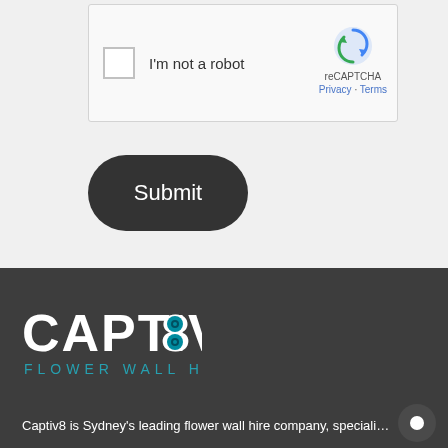[Figure (screenshot): reCAPTCHA widget with checkbox labeled 'I'm not a robot' and reCAPTCHA logo with Privacy and Terms links]
[Figure (screenshot): Dark rounded Submit button]
[Figure (logo): Captiv8 Flower Wall Hire logo in white and teal on dark background]
Captiv8 is Sydney's leading flower wall hire company, specialising …